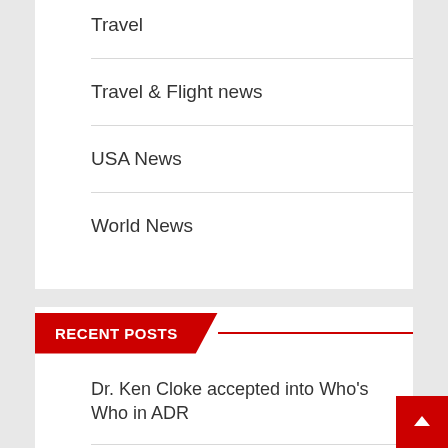Travel
Travel & Flight news
USA News
World News
RECENT POSTS
Dr. Ken Cloke accepted into Who's Who in ADR
Sensational Spaces is the Go-to Home Renovation Company for Discounted Garden Rooms in Susse